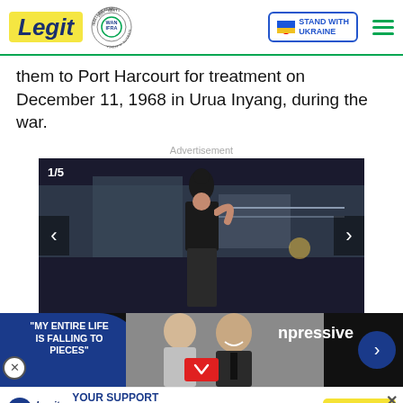Legit - Best News Website in Africa 2021 WAN-IFRA | Stand with Ukraine
them to Port Harcourt for treatment on December 11, 1968 in Urua Inyang, during the war.
Advertisement
[Figure (photo): Slideshow image 1/5: Woman in black outfit posing outdoors at night near a building]
[Figure (photo): Video strip showing two people (man and woman) with overlay text 'MY ENTIRE LIFE IS FALLING TO PIECES' and '...npressive', with a play button and next arrow. Close X button on left.]
[Figure (photo): Charity advertisement bar: WARF logo, Legit Charity text, 'YOUR SUPPORT MATTERS! SAVE THE LIFE OF GIRL AT RISK', Donate now button, close X]